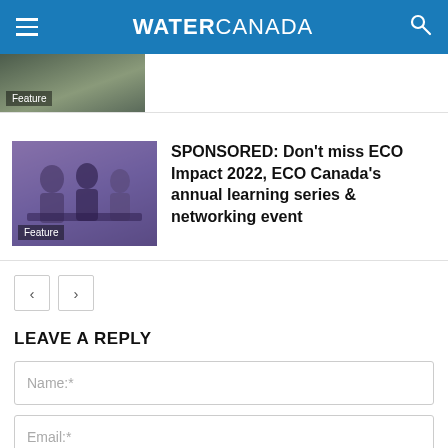WATER CANADA
[Figure (photo): Partial feature article thumbnail with 'Feature' label overlay, showing aerial/landscape image]
[Figure (photo): Feature article thumbnail showing people at a meeting/conference with laptops, with 'Feature' label overlay]
SPONSORED: Don't miss ECO Impact 2022, ECO Canada's annual learning series & networking event
< >
LEAVE A REPLY
Name:*
Email:*
Website: